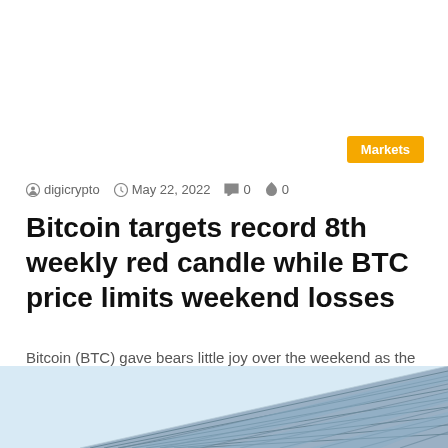Markets
digicrypto  May 22, 2022  0  0
Bitcoin targets record 8th weekly red candle while BTC price limits weekend losses
Bitcoin (BTC) gave bears little joy over the weekend as the May 22 weekly close looked set to revolve around…
Read More »
[Figure (photo): Exterior of a modern glass office building photographed from below against a light blue sky]